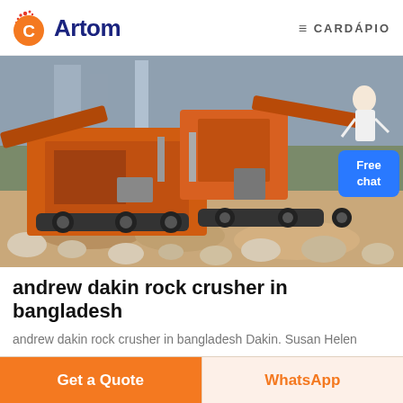Artom — CARDÁPIO
[Figure (photo): Heavy orange rock crusher machinery at a construction/quarry site with rocks and dirt in the foreground. A 'Free chat' badge is overlaid in the bottom-right corner.]
andrew dakin rock crusher in bangladesh
andrew dakin rock crusher in bangladesh Dakin. Susan Helen
Get a Quote   WhatsApp